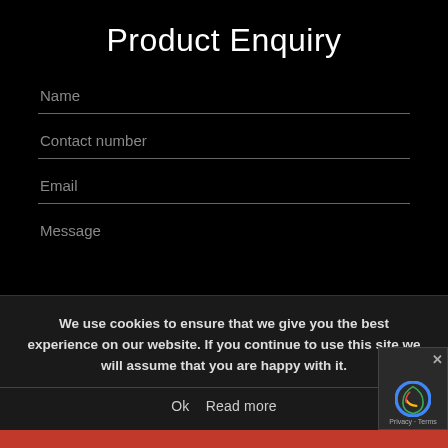Product Enquiry
Name
Contact number
Email
Message
We use cookies to ensure that we give you the best experience on our website. If you continue to use this site we will assume that you are happy with it.
Ok   Read more